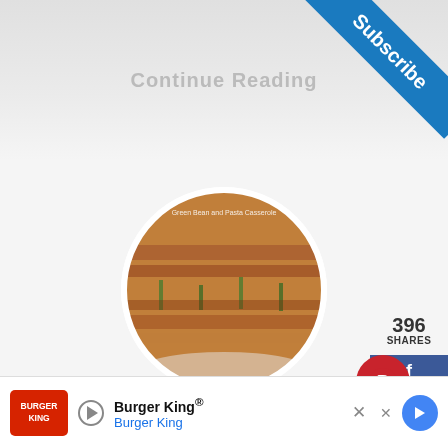Continue Reading
[Figure (photo): Circular photo of a green bean and pasta casserole dish topped with crispy onions]
Subscribe
396
SHARES
Gluten Free Green Bean and Pasta Casserole Recipe
Are you looking for healthy dinner ideas? Try this
No compatible source was found for this
[Figure (other): Burger King advertisement banner with logo, name, and navigation icon]